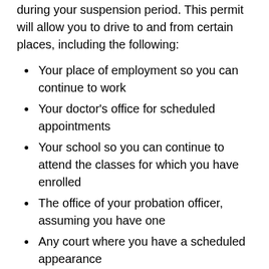during your suspension period. This permit will allow you to drive to and from certain places, including the following:
Your place of employment so you can continue to work
Your doctor's office for scheduled appointments
Your school so you can continue to attend the classes for which you have enrolled
The office of your probation officer, assuming you have one
Any court where you have a scheduled appearance
The facility where you attend alcohol and/or drug treatment classes
Keep in mind that the DDS can also prescribe the hours